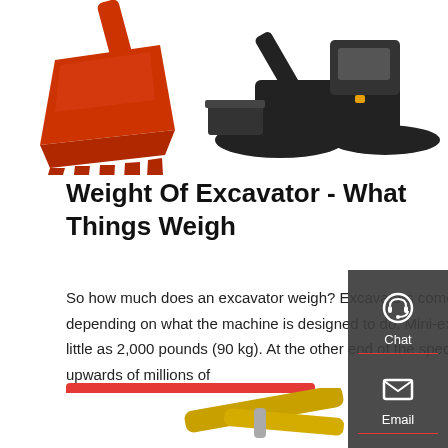[Figure (photo): Orange excavator bucket on the left and black mini-excavator with blade on the right, shown on white background]
Weight Of Excavator - What Things Weigh
So how much does an excavator weigh? Excavators come in a wide range of sizes, and weights will vary depending on what the machine is designed to do. Mini-excavators are used for light groundwork and weigh as little as 2,000 pounds (90 kg). At the other end of the spectrum are heavy-duty mini-excavators. They can weigh upwards of millions of
[Figure (infographic): Sidebar with Chat, Email, and Contact icons on dark grey background]
[Figure (illustration): Partial view of yellow excavator arm at bottom of page]
Get a quote